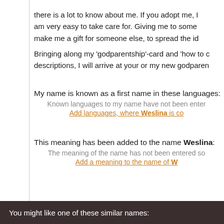there is a lot to know about me. If you adopt me, I am very easy to take care for. Giving me to some make me a gift for someone else, to spread the id
Bringing along my 'godparentship'-card and 'how to c descriptions, I will arrive at your or my new godparen
My name is known as a first name in these languages:
Known languages to my name have not been entered so far.
Add languages, where Weslina is co
This meaning has been added to the name Weslina:
The meaning of the name has not been entered so far.
Add a meaning to the name of W
You might like one of these similar names: